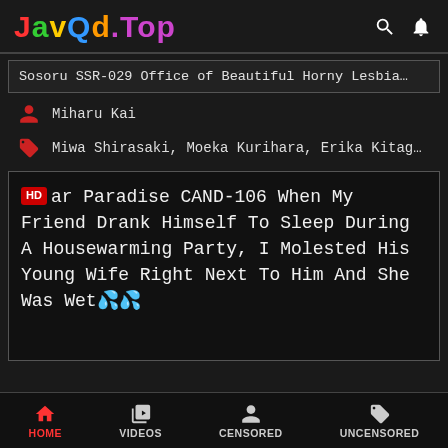JavQd.Top
Sosoru SSR-029 Office of Beautiful Horny Lesbia…
Miharu Kai
Miwa Shirasaki, Moeka Kurihara, Erika Kitag…
ar Paradise CAND-106 When My Friend Drank Himself To Sleep During A Housewarming Party, I Molested His Young Wife Right Next To Him And She Was Wet
HOME  VIDEOS  CENSORED  UNCENSORED